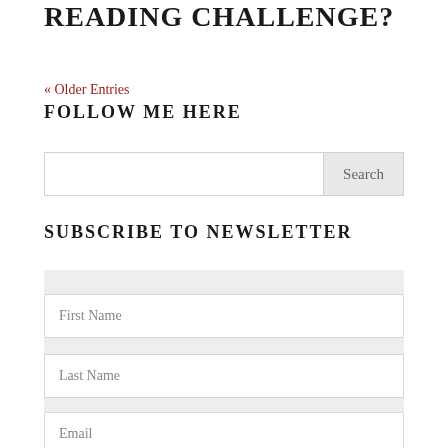READING CHALLENGE?
« Older Entries
FOLLOW ME HERE
[Figure (other): Search input box with Search button]
SUBSCRIBE TO NEWSLETTER
First Name
Last Name
Email